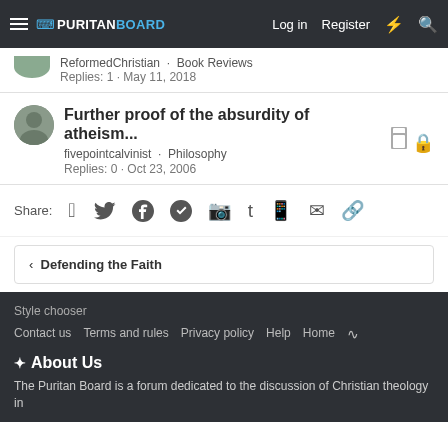PURITAN BOARD — Log in  Register
ReformedChristian · Book Reviews
Replies: 1 · May 11, 2018
Further proof of the absurdity of atheism...
fivepointcalvinist · Philosophy
Replies: 0 · Oct 23, 2006
Share:
< Defending the Faith
Style chooser
Contact us  Terms and rules  Privacy policy  Help  Home
About Us
The Puritan Board is a forum dedicated to the discussion of Christian theology in